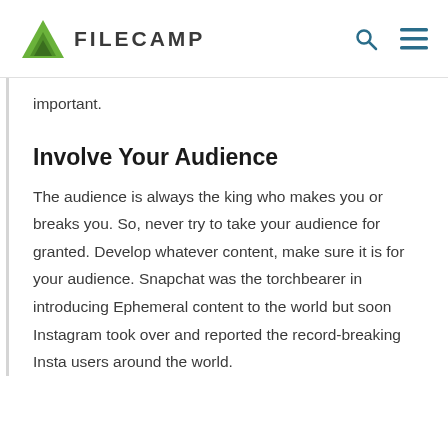FILECAMP
important.
Involve Your Audience
The audience is always the king who makes you or breaks you. So, never try to take your audience for granted. Develop whatever content, make sure it is for your audience. Snapchat was the torchbearer in introducing Ephemeral content to the world but soon Instagram took over and reported the record-breaking Insta users around the world.